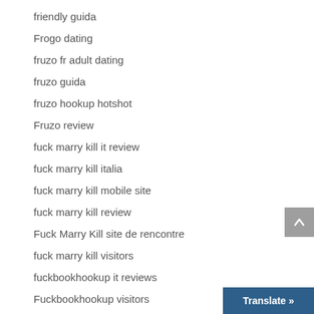friendly guida
Frogo dating
fruzo fr adult dating
fruzo guida
fruzo hookup hotshot
Fruzo review
fuck marry kill it review
fuck marry kill italia
fuck marry kill mobile site
fuck marry kill review
Fuck Marry Kill site de rencontre
fuck marry kill visitors
fuckbookhookup it reviews
Fuckbookhookup visitors
FuckMarryKill profiles